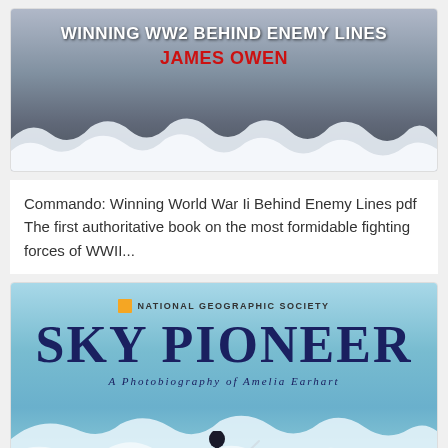[Figure (photo): Book cover for 'Commando: Winning WW2 Behind Enemy Lines' by James Owen — dark wintry/snowy background with white bold title text and red author name]
Commando: Winning World War Ii Behind Enemy Lines pdf The first authoritative book on the most formidable fighting forces of WWII...
[Figure (photo): Book cover for 'Sky Pioneer: A Photobiography of Amelia Earhart' published by National Geographic Society — sky blue background with large dark blue title text and silhouette of person leaning into wind]